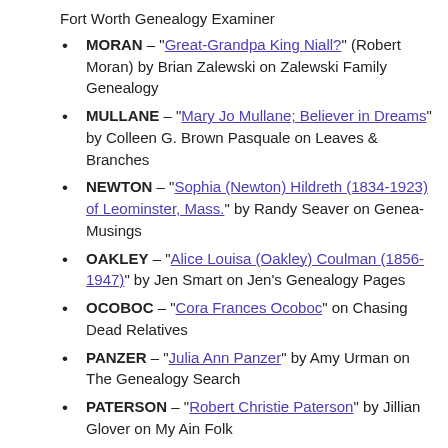Fort Worth Genealogy Examiner
MORAN – "Great-Grandpa King Niall?" (Robert Moran) by Brian Zalewski on Zalewski Family Genealogy
MULLANE – "Mary Jo Mullane; Believer in Dreams" by Colleen G. Brown Pasquale on Leaves & Branches
NEWTON – "Sophia (Newton) Hildreth (1834-1923) of Leominster, Mass." by Randy Seaver on Genea-Musings
OAKLEY – "Alice Louisa (Oakley) Coulman (1856-1947)" by Jen Smart on Jen's Genealogy Pages
OCOBOC – "Cora Frances Ocoboc" on Chasing Dead Relatives
PANZER – "Julia Ann Panzer" by Amy Urman on The Genealogy Search
PATERSON – "Robert Christie Paterson" by Jillian Glover on My Ain Folk
PEDEN – "Breaking the Mold of the Hidden